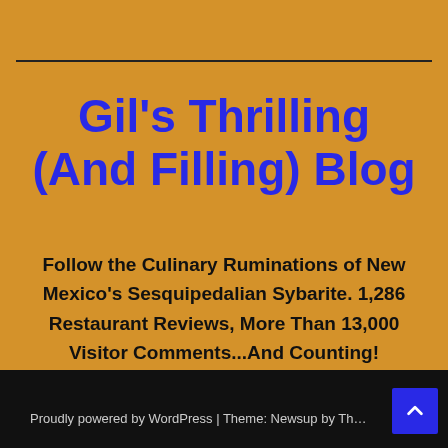Gil's Thrilling (And Filling) Blog
Follow the Culinary Ruminations of New Mexico's Sesquipedalian Sybarite. 1,286 Restaurant Reviews, More Than 13,000 Visitor Comments...And Counting!
Proudly powered by WordPress | Theme: Newsup by Themeans